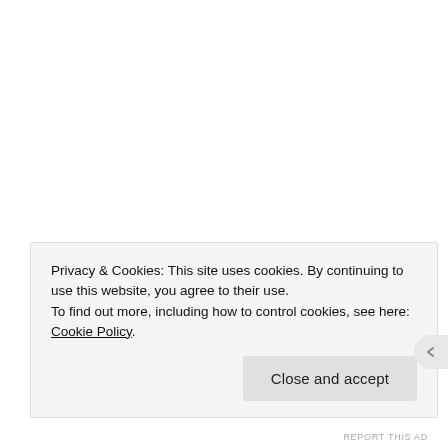SHARE THIS:
[Figure (illustration): Two circular social media share buttons: Twitter (blue bird icon) and Facebook (blue 'f' icon)]
Privacy & Cookies: This site uses cookies. By continuing to use this website, you agree to their use.
To find out more, including how to control cookies, see here: Cookie Policy
Close and accept
REPORT THIS AD